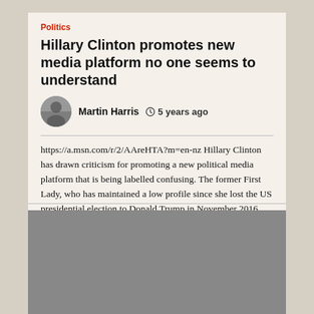Politics
Hillary Clinton promotes new media platform no one seems to understand
Martin Harris   🕐 5 years ago
https://a.msn.com/r/2/AAreHTA?m=en-nz Hillary Clinton has drawn criticism for promoting a new political media platform that is being labelled confusing. The former First Lady, who has maintained a low profile since she lost the US presidential election to Donald Trump in November 2016, today tweeted her support for a website called Verrit. [...]
[Figure (photo): Gray placeholder image block in the lower portion of the page]